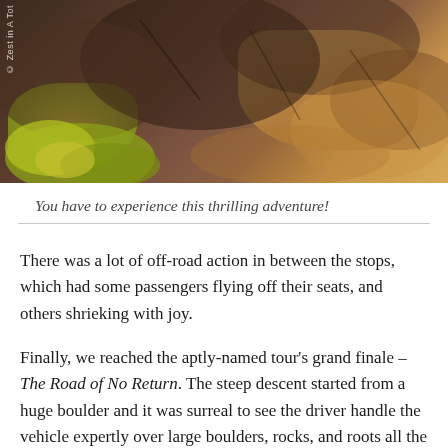[Figure (photo): Photograph of red rock formations and boulders typical of Sedona, Arizona, with yellow-green foliage visible at lower left. A small watermark reading 'Zest in A Tot' is visible vertically on the left side.]
You have to experience this thrilling adventure!
There was a lot of off-road action in between the stops, which had some passengers flying off their seats, and others shrieking with joy.
Finally, we reached the aptly-named tour's grand finale – The Road of No Return. The steep descent started from a huge boulder and it was surreal to see the driver handle the vehicle expertly over large boulders, rocks, and roots all the way down.
Definitely a fun adventure for the whole family! If you want to experience the best of Sedona red rocks or are doing just a day